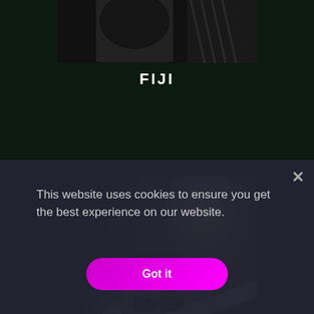[Figure (photo): Concert photo top portion showing dark clothing/jacket against dark green background, partially cropped at top]
FIJI
[Figure (photo): Concert performer with cap, sunglasses, long hair and beard playing guitar under green stage lighting with microphone in foreground]
This website uses cookies to ensure you get the best experience on our website.
Got it